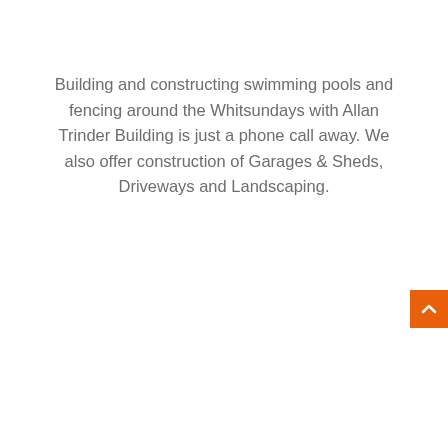Building and constructing swimming pools and fencing around the Whitsundays with Allan Trinder Building is just a phone call away. We also offer construction of Garages & Sheds, Driveways and Landscaping.
[Figure (other): Orange scroll-to-top button with white chevron arrow pointing upward, positioned at the right edge]